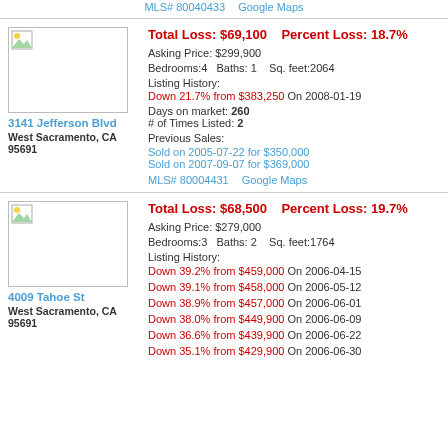MLS# 80040433    Google Maps
[Figure (photo): Property thumbnail image placeholder for 3141 Jefferson Blvd]
Total Loss: $69,100    Percent Loss: 18.7%
Asking Price: $299,900
Bedrooms:4    Baths: 1    Sq. feet:2064
Listing History:
Down 21.7% from $383,250 On 2008-01-19
3141 Jefferson Blvd
West Sacramento, CA 95691
Days on market: 260
# of Times Listed: 2
Previous Sales:
Sold on 2005-07-22 for $350,000
Sold on 2007-09-07 for $369,000
MLS# 80004431    Google Maps
[Figure (photo): Property thumbnail image placeholder for 4009 Tahoe St]
Total Loss: $68,500    Percent Loss: 19.7%
Asking Price: $279,000
Bedrooms:3    Baths: 2    Sq. feet:1764
Listing History:
Down 39.2% from $459,000 On 2006-04-15
Down 39.1% from $458,000 On 2006-05-12
Down 38.9% from $457,000 On 2006-06-01
Down 38.0% from $449,900 On 2006-06-09
Down 36.6% from $439,900 On 2006-06-22
Down 35.1% from $429,900 On 2006-06-30
4009 Tahoe St
West Sacramento, CA 95691